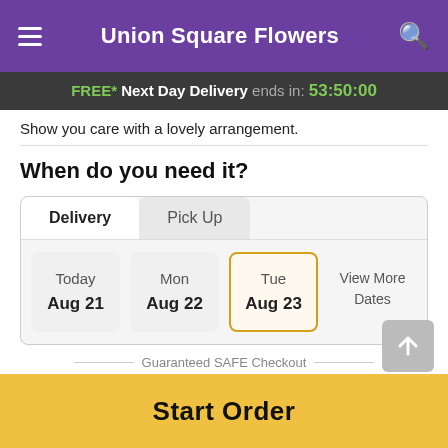Union Square Flowers
FREE* Next Day Delivery ends in: 53:50:00
Show you care with a lovely arrangement.
When do you need it?
Delivery | Pick Up
Today Aug 21 | Mon Aug 22 | Tue Aug 23 | View More Dates
Guaranteed SAFE Checkout
Start Order